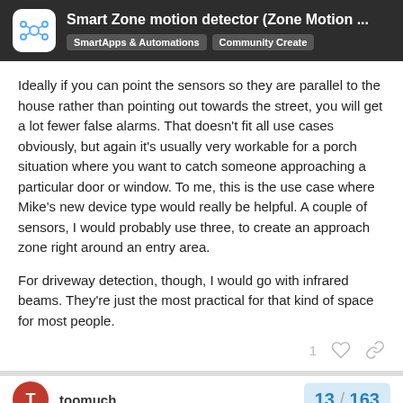Smart Zone motion detector (Zone Motion ... SmartApps & Automations Community Created
Ideally if you can point the sensors so they are parallel to the house rather than pointing out towards the street, you will get a lot fewer false alarms. That doesn't fit all use cases obviously, but again it's usually very workable for a porch situation where you want to catch someone approaching a particular door or window. To me, this is the use case where Mike's new device type would really be helpful. A couple of sensors, I would probably use three, to create an approach zone right around an entry area.
For driveway detection, though, I would go with infrared beams. They're just the most practical for that kind of space for most people.
toomuch
13 / 163